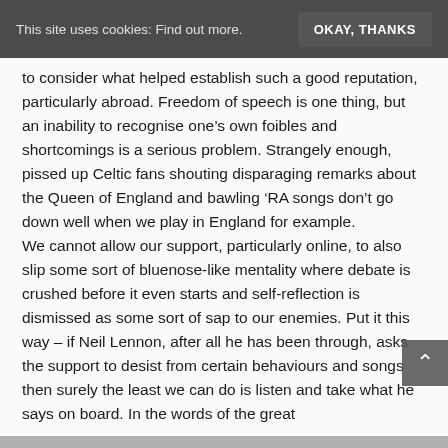This site uses cookies: Find out more. OKAY, THANKS
to consider what helped establish such a good reputation, particularly abroad. Freedom of speech is one thing, but an inability to recognise one’s own foibles and shortcomings is a serious problem. Strangely enough, pissed up Celtic fans shouting disparaging remarks about the Queen of England and bawling ‘RA songs don’t go down well when we play in England for example.
We cannot allow our support, particularly online, to also slip some sort of bluenose-like mentality where debate is crushed before it even starts and self-reflection is dismissed as some sort of sap to our enemies. Put it this way – if Neil Lennon, after all he has been through, asks the support to desist from certain behaviours and songs then surely the least we can do is listen and take what he says on board. In the words of the great